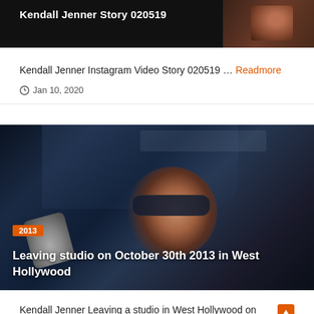[Figure (screenshot): Dark video thumbnail with text 'Kendall Jenner Story 020519' and a partial face/hand thumbnail on the right]
Kendall Jenner Instagram Video Story 020519 ... Readmore
Jan 10, 2020
[Figure (photo): Photo of a woman wearing sunglasses sitting in a dark car, with an orange '2013' year badge overlay and caption 'Leaving studio on October 30th 2013 in West Hollywood']
Kendall Jenner Leaving a studio in West Hollywood on October 30th 2013 ... Readmore